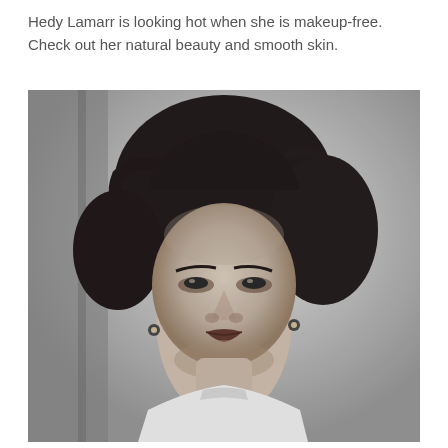Hedy Lamarr is looking hot when she is makeup-free. Check out her natural beauty and smooth skin.
[Figure (photo): Black and white portrait photograph of Hedy Lamarr, a woman with curly dark hair, wearing earrings and a light-colored top with a high collar, looking at the camera.]